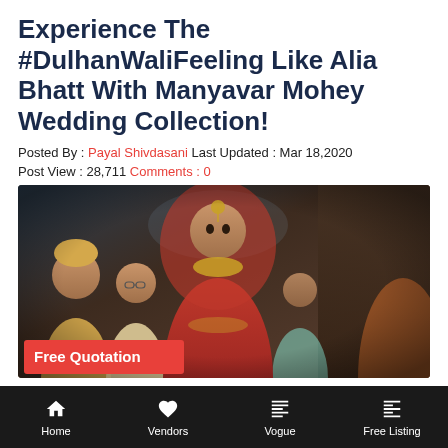Experience The #DulhanWaliFeeling Like Alia Bhatt With Manyavar Mohey Wedding Collection!
Posted By : Payal Shivdasani Last Updated : Mar 18,2020
Post View : 28,711 Comments : 0
[Figure (photo): Photo of a bride dressed in a red bridal outfit with gold jewelry and dupatta, surrounded by wedding guests in the background. A red 'Free Quotation' button appears at the bottom left of the image.]
Home   Vendors   Vogue   Free Listing